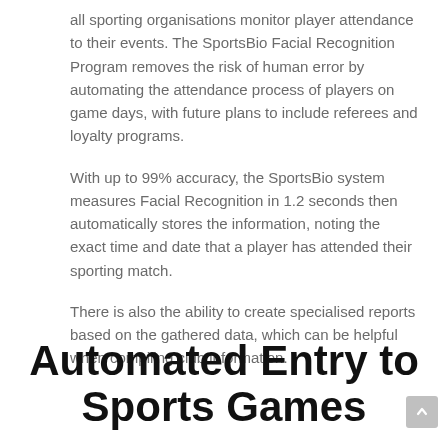all sporting organisations monitor player attendance to their events. The SportsBio Facial Recognition Program removes the risk of human error by automating the attendance process of players on game days, with future plans to include referees and loyalty programs.
With up to 99% accuracy, the SportsBio system measures Facial Recognition in 1.2 seconds then automatically stores the information, noting the exact time and date that a player has attended their sporting match.
There is also the ability to create specialised reports based on the gathered data, which can be helpful when compiling club information.
Automated Entry to Sports Games